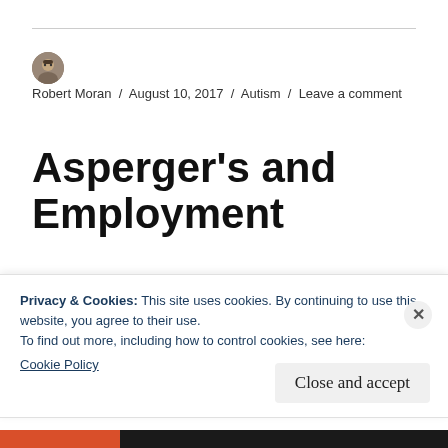Robert Moran / August 10, 2017 / Autism / Leave a comment
Asperger's and Employment
The ability to hold a job gives a person's life meaning. A job gives a person a sense of
Privacy & Cookies: This site uses cookies. By continuing to use this website, you agree to their use.
To find out more, including how to control cookies, see here:
Cookie Policy
Close and accept